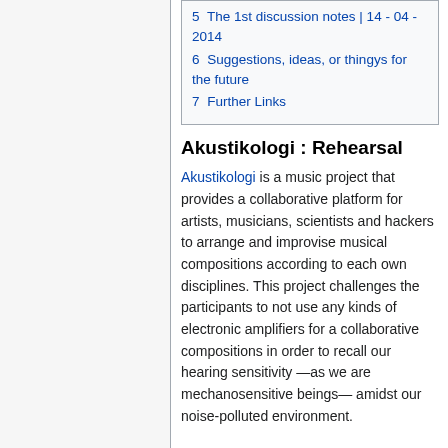5  The 1st discussion notes | 14 - 04 - 2014
6  Suggestions, ideas, or thingys for the future
7  Further Links
Akustikologi : Rehearsal
Akustikologi is a music project that provides a collaborative platform for artists, musicians, scientists and hackers to arrange and improvise musical compositions according to each own disciplines. This project challenges the participants to not use any kinds of electronic amplifiers for a collaborative compositions in order to recall our hearing sensitivity —as we are mechanosensitive beings— amidst our noise-polluted environment.